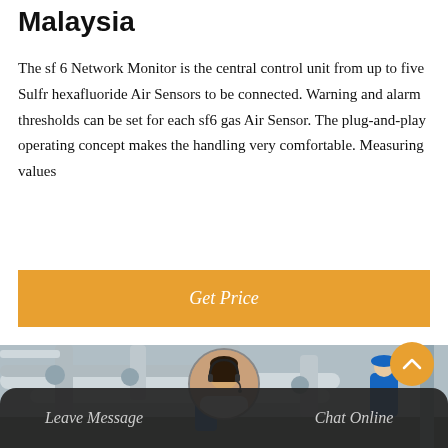Malaysia
The sf 6 Network Monitor is the central control unit from up to five Sulfr hexafluoride Air Sensors to be connected. Warning and alarm thresholds can be set for each sf6 gas Air Sensor. The plug-and-play operating concept makes the handling very comfortable. Measuring values
Get Price
[Figure (photo): Industrial workers in blue hard hats and jackets working on large gas-insulated switchgear piping at an outdoor electrical substation. Multiple large cylindrical grey pipes and flanges visible; cloudy sky background.]
Leave Message  |  Chat Online